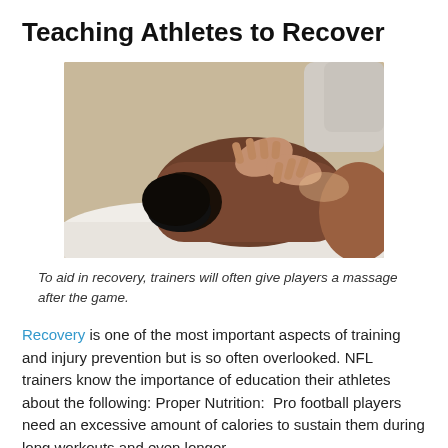Teaching Athletes to Recover
[Figure (photo): A sports massage therapist using hands to massage the back and neck of an athlete lying face down on a massage table with a white pillow.]
To aid in recovery, trainers will often give players a massage after the game.
Recovery is one of the most important aspects of training and injury prevention but is so often overlooked. NFL trainers know the importance of education their athletes about the following: Proper Nutrition: Pro football players need an excessive amount of calories to sustain them during long workouts and even longer